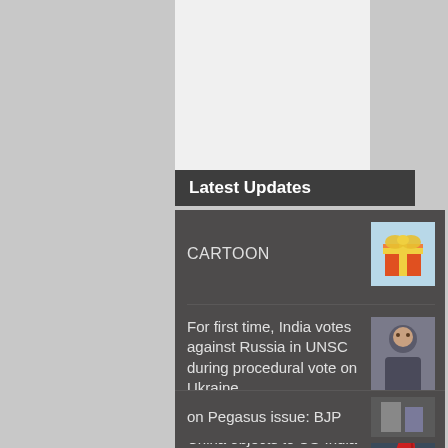Latest Updates
CARTOON
For first time, India votes against Russia in UNSC during procedural vote on Ukraine
China objects to US-India military drills; says firmly opposed to third party meddling on border issue
on Pegasus issue: BJP
Privacy & Cookies: By continuing to use this website, you agree to their use.
To find out more, see here: Cookie Policy
Close and accept